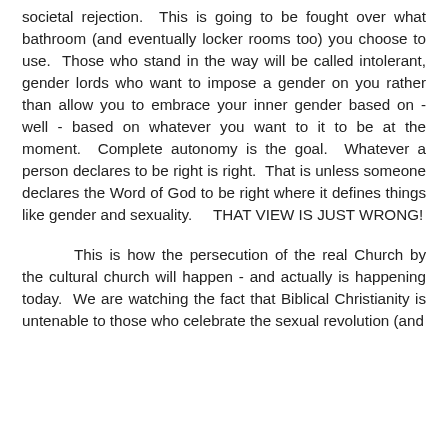societal rejection.  This is going to be fought over what bathroom (and eventually locker rooms too) you choose to use.  Those who stand in the way will be called intolerant, gender lords who want to impose a gender on you rather than allow you to embrace your inner gender based on - well - based on whatever you want to it to be at the moment.  Complete autonomy is the goal.  Whatever a person declares to be right is right.  That is unless someone declares the Word of God to be right where it defines things like gender and sexuality.    THAT VIEW IS JUST WRONG!
This is how the persecution of the real Church by the cultural church will happen - and actually is happening today.  We are watching the fact that Biblical Christianity is untenable to those who celebrate the sexual revolution (and